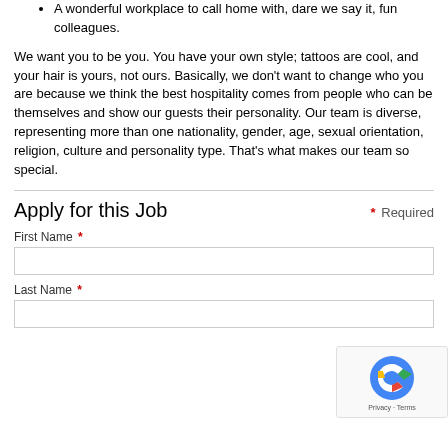A wonderful workplace to call home with, dare we say it, fun colleagues.
We want you to be you. You have your own style; tattoos are cool, and your hair is yours, not ours. Basically, we don't want to change who you are because we think the best hospitality comes from people who can be themselves and show our guests their personality. Our team is diverse, representing more than one nationality, gender, age, sexual orientation, religion, culture and personality type. That's what makes our team so special.
Apply for this Job
First Name *
Last Name *